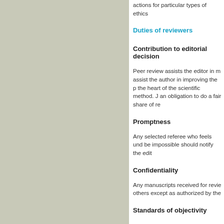actions for particular types of ethics
Duties of reviewers
Contribution to editorial decision
Peer review assists the editor in m assist the author in improving the p the heart of the scientific method. J an obligation to do a fair share of re
Promptness
Any selected referee who feels und be impossible should notify the edit
Confidentiality
Any manuscripts received for revie others except as authorized by the
Standards of objectivity